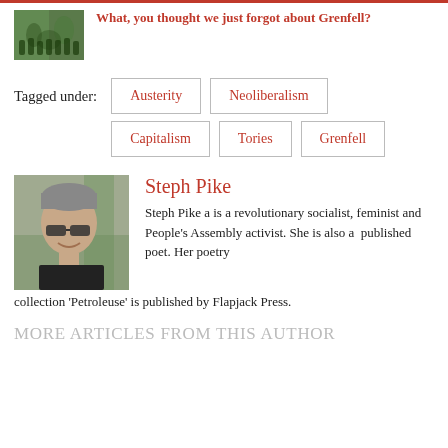[Figure (photo): Thumbnail image of crowd of people in green clothing, related to Grenfell article]
What, you thought we just forgot about Grenfell?
Tagged under:
Austerity
Neoliberalism
Capitalism
Tories
Grenfell
[Figure (photo): Photo of Steph Pike, a woman with short grey hair and sunglasses, outdoors]
Steph Pike
Steph Pike a is a revolutionary socialist, feminist and People's Assembly activist. She is also a  published poet. Her poetry collection 'Petroleuse' is published by Flapjack Press.
MORE ARTICLES FROM THIS AUTHOR